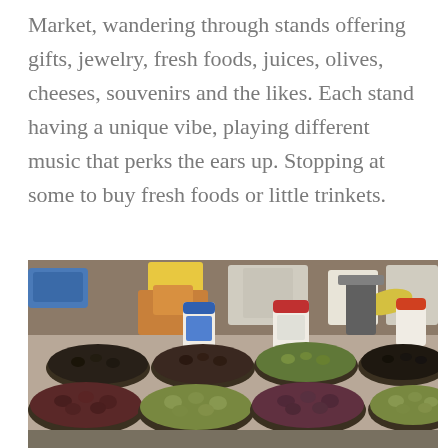Market, wandering through stands offering gifts, jewelry, fresh foods, juices, olives, cheeses, souvenirs and the likes. Each stand having a unique vibe, playing different music that perks the ears up. Stopping at some to buy fresh foods or little trinkets.
[Figure (photo): A market stall with numerous large metal bowls/trays filled with different varieties of olives and other foods. In the background are jars with red lids, bags, and other market goods. The bowls in the foreground are filled with black, green, and mixed olives.]